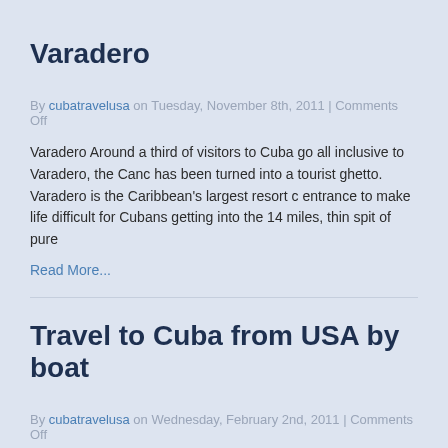Varadero
By cubatravelusa on Tuesday, November 8th, 2011 | Comments Off
Varadero Around a third of visitors to Cuba go all inclusive to Varadero, the Canc has been turned into a tourist ghetto. Varadero is the Caribbean’s largest resort c entrance to make life difficult for Cubans getting into the 14 miles, thin spit of pure
Read More...
Travel to Cuba from USA by boat
By cubatravelusa on Wednesday, February 2nd, 2011 | Comments Off
Travel to Cuba from USA by boat Many Americans, especially those who live in F Travel to Cuba from USA by boat „ After all, it’s only 90 miles, right? Well, theore boat is entirely possible. In fact, more and more yachts and […]
Read More...